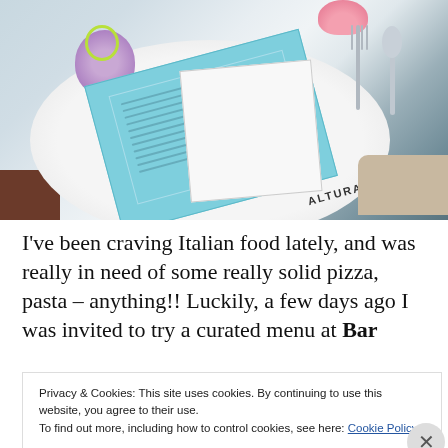[Figure (photo): Overhead photo of a restaurant table with a teal/blue menu (labeled ALTURA), a white paper menu, cutlery (fork and spoon), a purple dessert with lime green decoration, and pink flowers]
I've been craving Italian food lately, and was really in need of some really solid pizza, pasta – anything!! Luckily, a few days ago I was invited to try a curated menu at Bar
Privacy & Cookies: This site uses cookies. By continuing to use this website, you agree to their use.
To find out more, including how to control cookies, see here: Cookie Policy
Close and accept